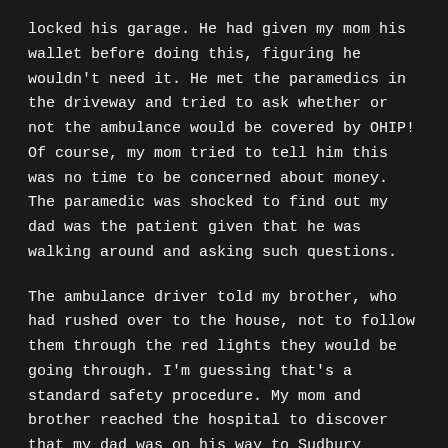locked his garage. He had given my mom his wallet before doing this, figuring he wouldn't need it. He met the paramedics in the driveway and tried to ask whether or not the ambulance would be covered by OHIP! Of course, my mom tried to tell him this was no time to be concerned about money. The paramedic was shocked to find out my dad was the patient given that he was walking around and asking such questions.
The ambulance driver told my brother, who had rushed over to the house, not to follow them through the red lights they would be going through. I'm guessing that's a standard safety procedure. My mom and brother reached the hospital to discover that my dad was on his way to Sudbury because the North Bay CAT Scan wasn't working. That was at 5:47 pm.